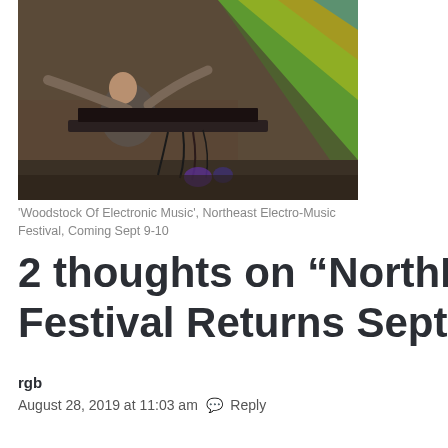[Figure (photo): A musician performing with electronic equipment and synthesizers, with colorful light projections in the background]
'Woodstock Of Electronic Music', Northeast Electro-Music Festival, Coming Sept 9-10
2 thoughts on “NorthEast E… Festival Returns Septembe…
rgb
August 28, 2019 at 11:03 am  Reply